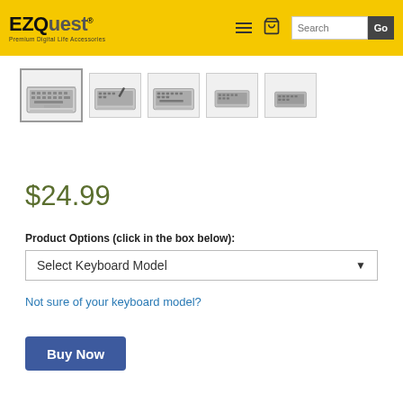EZQuest® Premium Digital Life Accessories — navigation header with search
[Figure (photo): Five thumbnail images of laptop keyboards/keyboard protectors shown in a horizontal strip; the first is selected with a border.]
$24.99
Product Options (click in the box below):
Select Keyboard Model
Not sure of your keyboard model?
Buy Now